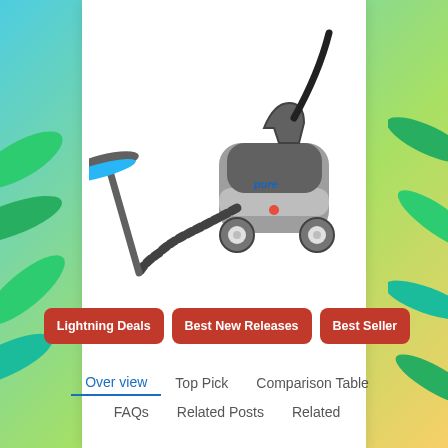[Figure (photo): Gray steam cleaner / steam mop product photo on white background. The unit has a canister body on wheels with a long wand and floor mop attachment. Brand name 'pure' visible on the body.]
Lightning Deals
Best New Releases
Best Seller
Over view   Top Pick   Comparison Table
FAQs   Related Posts   Related